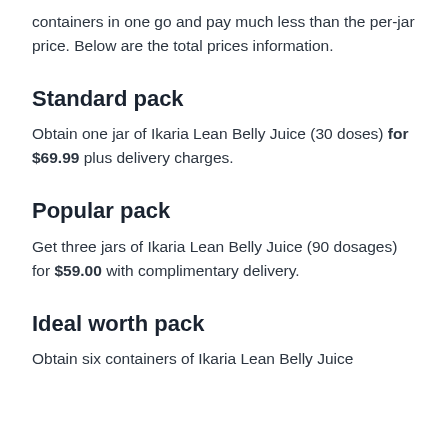containers in one go and pay much less than the per-jar price. Below are the total prices information.
Standard pack
Obtain one jar of Ikaria Lean Belly Juice (30 doses) for $69.99 plus delivery charges.
Popular pack
Get three jars of Ikaria Lean Belly Juice (90 dosages) for $59.00 with complimentary delivery.
Ideal worth pack
Obtain six containers of Ikaria Lean Belly Juice